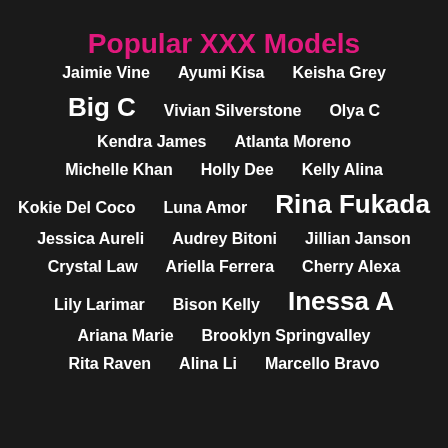Popular XXX Models
Jaimie Vine   Ayumi Kisa   Keisha Grey
Big C   Vivian Silverstone   Olya C
Kendra James   Atlanta Moreno
Michelle Khan   Holly Dee   Kelly Alina
Kokie Del Coco   Luna Amor   Rina Fukada
Jessica Aureli   Audrey Bitoni   Jillian Janson
Crystal Law   Ariella Ferrera   Cherry Alexa
Lily Larimar   Bison Kelly   Inessa A
Ariana Marie   Brooklyn Springvalley
Rita Raven   Alina Li   Marcello Bravo